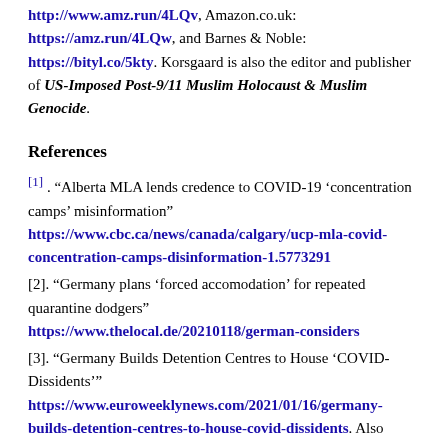http://www.amz.run/4LQv, Amazon.co.uk: https://amz.run/4LQw, and Barnes & Noble: https://bityl.co/5kty. Korsgaard is also the editor and publisher of US-Imposed Post-9/11 Muslim Holocaust & Muslim Genocide.
References
[1] . “Alberta MLA lends credence to COVID-19 ‘concentration camps’ misinformation” https://www.cbc.ca/news/canada/calgary/ucp-mla-covid-concentration-camps-disinformation-1.5773291
[2]. “Germany plans ‘forced accomodation’ for repeated quarantine dodgers” https://www.thelocal.de/20210118/german-considers
[3]. “Germany Builds Detention Centres to House ‘COVID-Dissidents’” https://www.euroweeklynews.com/2021/01/16/germany-builds-detention-centres-to-house-covid-dissidents. Also